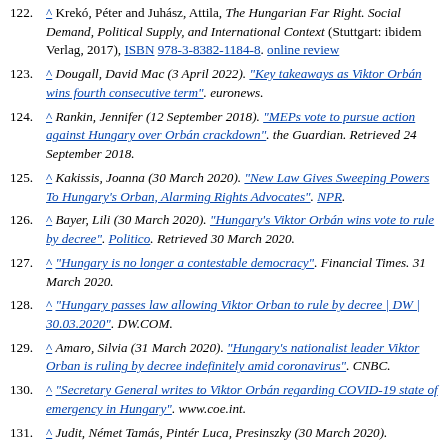122. ^ Krekó, Péter and Juhász, Attila, The Hungarian Far Right. Social Demand, Political Supply, and International Context (Stuttgart: ibidem Verlag, 2017), ISBN 978-3-8382-1184-8. online review
123. ^ Dougall, David Mac (3 April 2022). "Key takeaways as Viktor Orbán wins fourth consecutive term". euronews.
124. ^ Rankin, Jennifer (12 September 2018). "MEPs vote to pursue action against Hungary over Orbán crackdown". the Guardian. Retrieved 24 September 2018.
125. ^ Kakissis, Joanna (30 March 2020). "New Law Gives Sweeping Powers To Hungary's Orban, Alarming Rights Advocates". NPR.
126. ^ Bayer, Lili (30 March 2020). "Hungary's Viktor Orbán wins vote to rule by decree". Politico. Retrieved 30 March 2020.
127. ^ "Hungary is no longer a contestable democracy". Financial Times. 31 March 2020.
128. ^ "Hungary passes law allowing Viktor Orban to rule by decree | DW | 30.03.2020". DW.COM.
129. ^ Amaro, Silvia (31 March 2020). "Hungary's nationalist leader Viktor Orban is ruling by decree indefinitely amid coronavirus". CNBC.
130. ^ "Secretary General writes to Viktor Orbán regarding COVID-19 state of emergency in Hungary". www.coe.int.
131. ^ Judit, Német Tamás, Pintér Luca, Presinszky (30 March 2020).